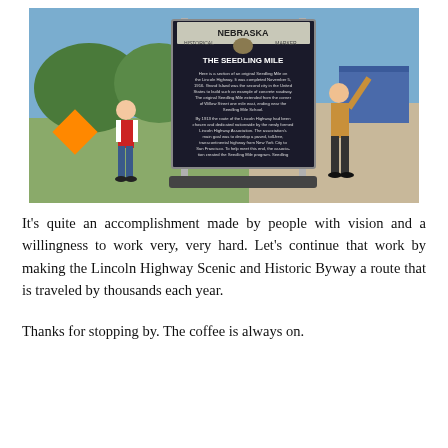[Figure (photo): Two women standing next to a Nebraska Historical Marker for 'The Seedling Mile' on the Lincoln Highway. One woman in a red shirt stands on the left, another in a tan jacket points to the top of the sign on the right. The sign is dark with white text. Background shows trees, blue sky, and a gravel road.]
It's quite an accomplishment made by people with vision and a willingness to work very, very hard. Let's continue that work by making the Lincoln Highway Scenic and Historic Byway a route that is traveled by thousands each year.
Thanks for stopping by. The coffee is always on.